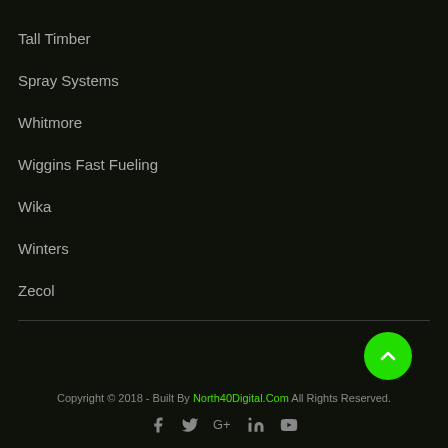Tall Timber
Spray Systems
Whitmore
Wiggins Fast Fueling
Wika
Winters
Zecol
Copyright © 2018 - Built By North40Digital.Com All Rights Reserved.